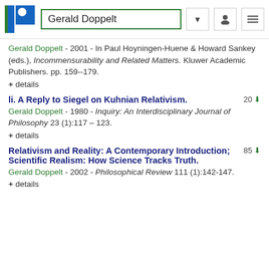Gerald Doppelt
Gerald Doppelt - 2001 - In Paul Hoyningen-Huene & Howard Sankey (eds.), Incommensurability and Related Matters. Kluwer Academic Publishers. pp. 159--179.
+ details
li. A Reply to Siegel on Kuhnian Relativism.
Gerald Doppelt - 1980 - Inquiry: An Interdisciplinary Journal of Philosophy 23 (1):117 – 123.
+ details
Relativism and Reality: A Contemporary Introduction; Scientific Realism: How Science Tracks Truth.
Gerald Doppelt - 2002 - Philosophical Review 111 (1):142-147.
+ details